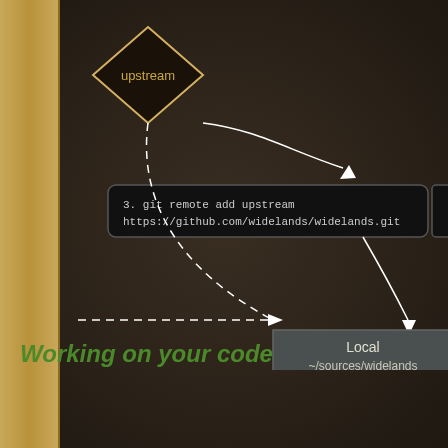[Figure (flowchart): Flowchart showing git workflow: an 'upstream' diamond node at top left, connected by a curved arrow to a command box '3. git remote add upstream https://github.com/widelands/widelands.git', then continuing down to a 'Local ~/sources/widelands' rectangle at bottom right. A dashed curved line connects the upstream diamond to the Local box.]
Working on your code